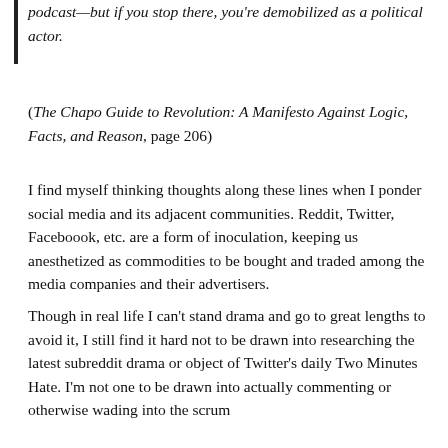podcast—but if you stop there, you're demobilized as a political actor.
(The Chapo Guide to Revolution: A Manifesto Against Logic, Facts, and Reason, page 206)
I find myself thinking thoughts along these lines when I ponder social media and its adjacent communities. Reddit, Twitter, Faceboook, etc. are a form of inoculation, keeping us anesthetized as commodities to be bought and traded among the media companies and their advertisers.
Though in real life I can't stand drama and go to great lengths to avoid it, I still find it hard not to be drawn into researching the latest subreddit drama or object of Twitter's daily Two Minutes Hate. I'm not one to be drawn into actually commenting or otherwise wading into the scrum